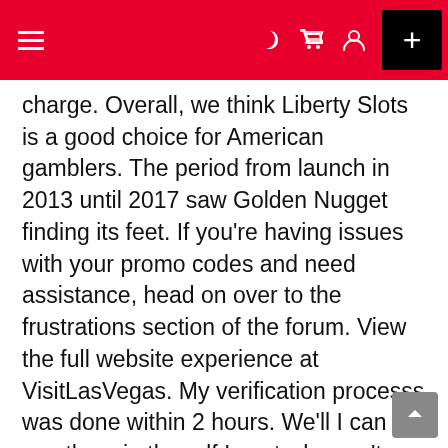Navigation bar with hamburger menu, crescent/dark mode icon, cart icon, user icon, and plus button
charge. Overall, we think Liberty Slots is a good choice for American gamblers. The period from launch in 2013 until 2017 saw Golden Nugget finding its feet. If you're having issues with your promo codes and need assistance, head on over to the frustrations section of the forum. View the full website experience at VisitLasVegas. My verification processs was done within 2 hours. We'll I can see them in the pdf I sent why can't you see them. “When we received the Michigan Golf Course of the Year award back in October, we were very excited. Because your system legally advertises the restrictions on the balance you can not have another term to void what your system